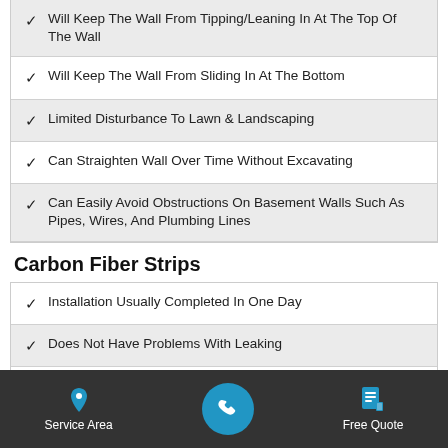Will Keep The Wall From Tipping/Leaning In At The Top Of The Wall
Will Keep The Wall From Sliding In At The Bottom
Limited Disturbance To Lawn & Landscaping
Can Straighten Wall Over Time Without Excavating
Can Easily Avoid Obstructions On Basement Walls Such As Pipes, Wires, And Plumbing Lines
Carbon Fiber Strips
Installation Usually Completed In One Day
Does Not Have Problems With Leaking
Stabilizes Walls That Are Bowing In At The Center Of The Wall
Limited Disturbance To Lawn & Landscaping
Service Area | Call | Free Quote